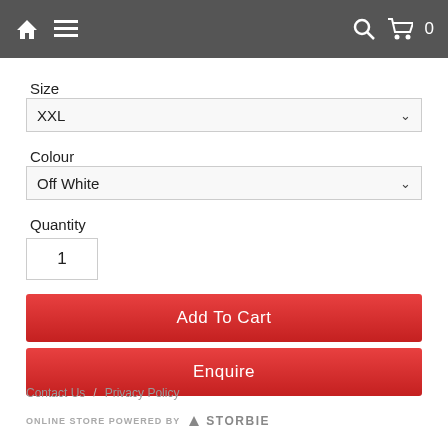Home | Menu | Search | Cart 0
Size
XXL
Colour
Off White
Quantity
1
Add To Cart
Enquire
Contact Us  /  Privacy Policy
ONLINE STORE POWERED BY  STORBIE